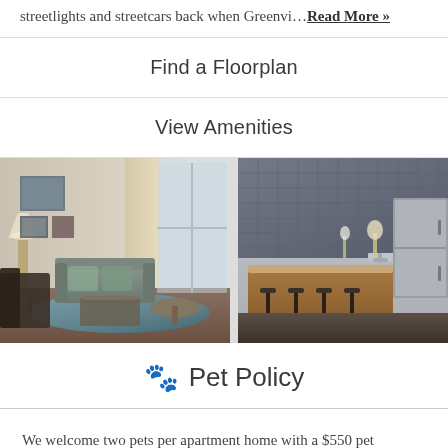streetlights and streetcars back when Greenvi…Read More »
Find a Floorplan
View Amenities
[Figure (photo): Two apartment interior photos side by side: a furnished living room with blue rug and artwork on the wall (left), and a modern kitchen with a wood island and bar stools (right).]
🐾  Pet Policy
We welcome two pets per apartment home with a $550 pet fee. Dogs and cats are welcome. Breed restrictions may apply.